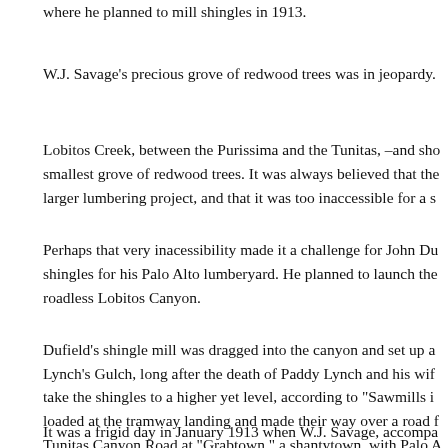where he planned to mill shingles in 1913.
W.J. Savage's precious grove of redwood trees was in jeopardy.
Lobitos Creek, between the Purissima and the Tunitas, –and sho smallest grove of redwood trees. It was always believed that the larger lumbering project, and that it was too inaccessible for a s
Perhaps that very inacessibility made it a challenge for John Du shingles for his Palo Alto lumberyard. He planned to launch the roadless Lobitos Canyon.
Dufield's shingle mill was dragged into the canyon and set up a Lynch's Gulch, long after the death of Paddy Lynch and his wif take the shingles to a higher yet level, according to "Sawmills i loaded at the tramway landing and made their way over a road f Tunitas Canyon Road at "Grabtown," a shantytown, with Palo A
It was a frigid day in January 1913 when W.J. Savage, accompa